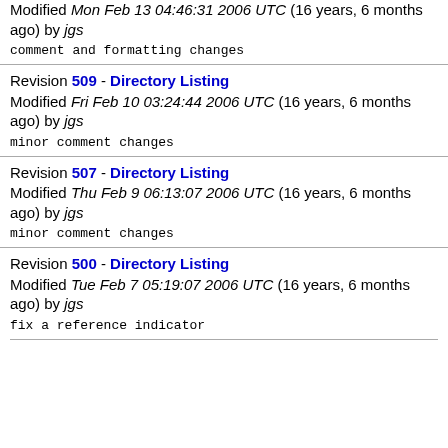Modified Mon Feb 13 04:46:31 2006 UTC (16 years, 6 months ago) by jgs
comment and formatting changes
Revision 509 - Directory Listing Modified Fri Feb 10 03:24:44 2006 UTC (16 years, 6 months ago) by jgs
minor comment changes
Revision 507 - Directory Listing Modified Thu Feb 9 06:13:07 2006 UTC (16 years, 6 months ago) by jgs
minor comment changes
Revision 500 - Directory Listing Modified Tue Feb 7 05:19:07 2006 UTC (16 years, 6 months ago) by jgs
fix a reference indicator